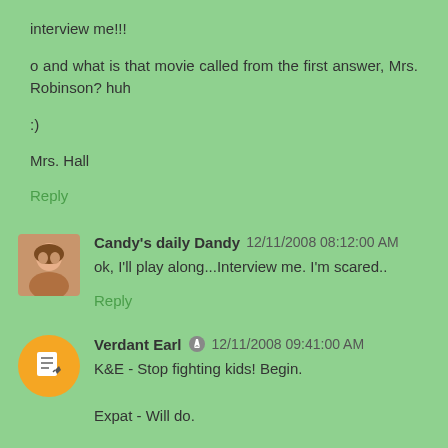interview me!!!
o and what is that movie called from the first answer, Mrs. Robinson? huh
:)
Mrs. Hall
Reply
Candy's daily Dandy  12/11/2008 08:12:00 AM
ok, I'll play along...Interview me. I'm scared..
Reply
Verdant Earl  12/11/2008 09:41:00 AM
K&E - Stop fighting kids! Begin.
Expat - Will do.